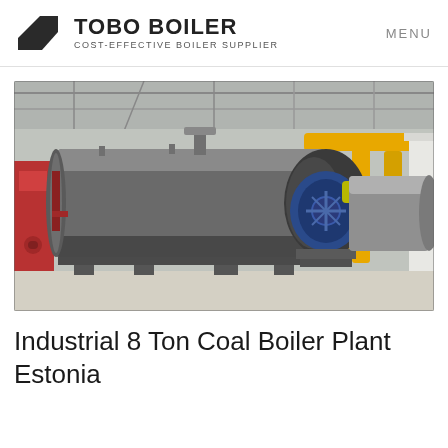TOBO BOILER — COST-EFFECTIVE BOILER SUPPLIER | MENU
[Figure (photo): Industrial boiler plant interior showing a large horizontal cylindrical coal boiler in dark metallic finish with blue burner assembly at front, yellow gas pipes on the right, red panel on far left, inside a large industrial facility with concrete floors and steel roof structure.]
Industrial 8 Ton Coal Boiler Plant Estonia